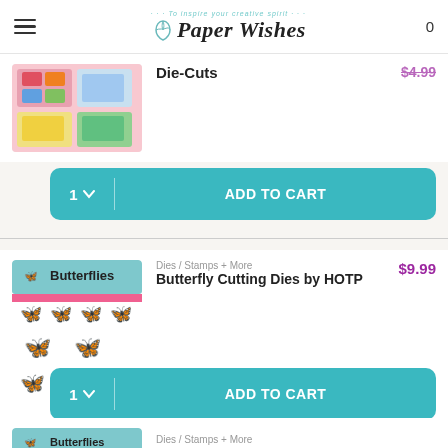Paper Wishes — To inspire your creative spirit
[Figure (screenshot): Product image for Die-Cuts item — colorful cards in a pink box]
Die-Cuts
$4.99 (strikethrough price)
1 ▾  ADD TO CART
[Figure (screenshot): Butterflies die set product image — gold butterfly die cuts with packaging showing Butterflies branding]
Dies / Stamps + More
Butterfly Cutting Dies by HOTP
$9.99
1 ▾  ADD TO CART
[Figure (screenshot): Third product image — Butterflies packaging, partial view]